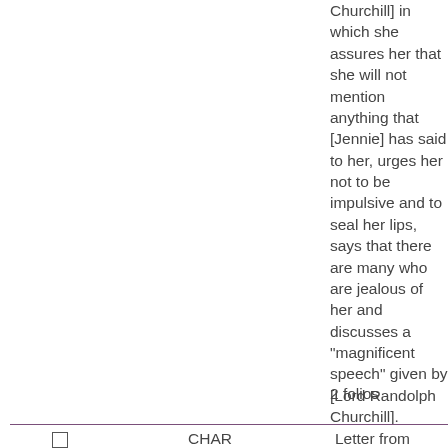Churchill] in which she assures her that she will not mention anything that [Jennie] has said to her, urges her not to be impulsive and to seal her lips, says that there are many who are jealous of her and discusses a "magnificent speech" given by [Lord Randolph Churchill].
2 folios
CHAR
Letter from